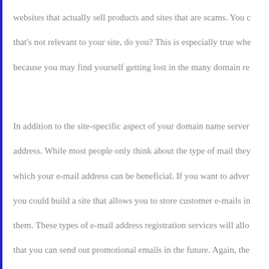websites that actually sell products and sites that are scams. You c that's not relevant to your site, do you? This is especially true whe because you may find yourself getting lost in the many domain re In addition to the site-specific aspect of your domain name server address. While most people only think about the type of mail they which your e-mail address can be beneficial. If you want to adver you could build a site that allows you to store customer e-mails in them. These types of e-mail address registration services will allo that you can send out promotional emails in the future. Again, the domain name servers point to the right e-mail addresses, so your